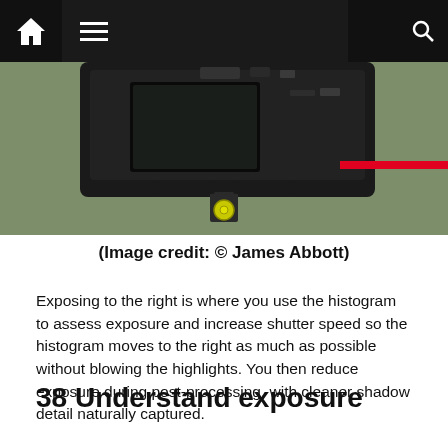Navigation bar with home, menu, dark mode, and search icons
[Figure (photo): Close-up photograph of a Sony camera mounted on a tripod/gimbal, seen from the rear, with a yellow bubble level, against a blurred green outdoor background]
(Image credit: © James Abbott)
Exposing to the right is where you use the histogram to assess exposure and increase shutter speed so the histogram moves to the right as much as possible without blowing the highlights. You then reduce exposure during post-processing, with cleaner shadow detail naturally captured.
38 Understand exposure